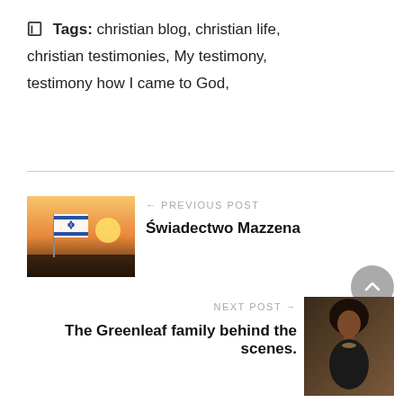Tags:  christian blog,  christian life,  christian testimonies,  My testimony,  testimony how I came to God,
[Figure (photo): Thumbnail image of Israeli flag at sunset over water, for 'Previous Post: Świadectwo Mazzena']
← PREVIOUS POST
Świadectwo Mazzena
NEXT POST →
The Greenleaf family behind the scenes.
[Figure (photo): Thumbnail image of a woman standing indoors, for 'Next Post: The Greenleaf family behind the scenes.']